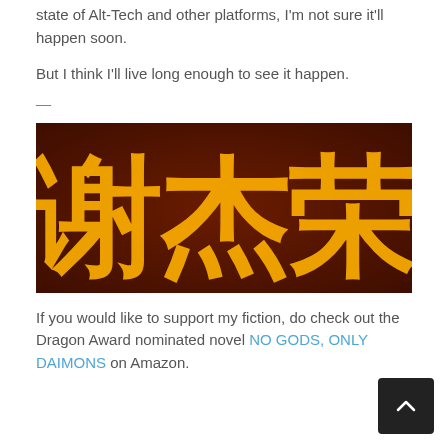state of Alt-Tech and other platforms, I'm not sure it'll happen soon.
But I think I'll live long enough to see it happen.
—
[Figure (photo): Image showing large Chinese/Japanese characters in golden yellow on a dark reddish-brown background. The characters appear to be 謝杰榮 or similar.]
If you would like to support my fiction, do check out the Dragon Award nominated novel NO GODS, ONLY DAIMONS on Amazon.